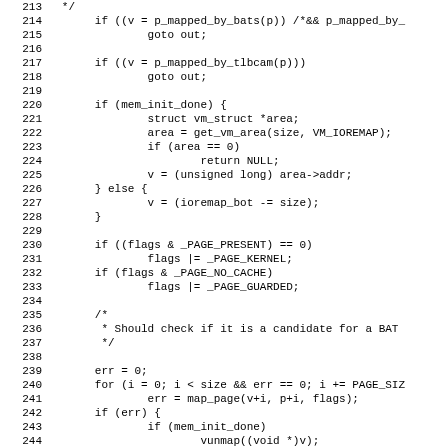[Figure (other): Source code listing in C, lines 213-244, showing ioremap function logic with BAT mapping checks, vm_struct area allocation, flag handling, and map_page loop.]